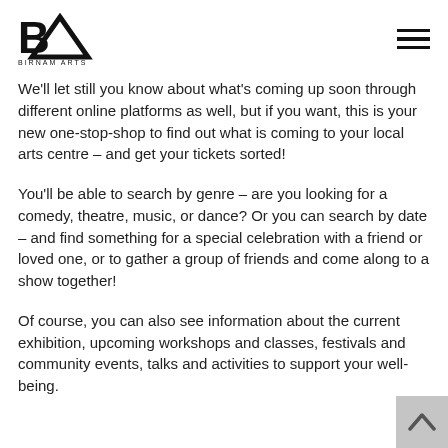BA BIRNAM ARTS
We'll let still you know about what's coming up soon through different online platforms as well, but if you want, this is your new one-stop-shop to find out what is coming to your local arts centre – and get your tickets sorted!
You'll be able to search by genre – are you looking for a comedy, theatre, music, or dance? Or you can search by date – and find something for a special celebration with a friend or loved one, or to gather a group of friends and come along to a show together!
Of course, you can also see information about the current exhibition, upcoming workshops and classes, festivals and community events, talks and activities to support your well-being.